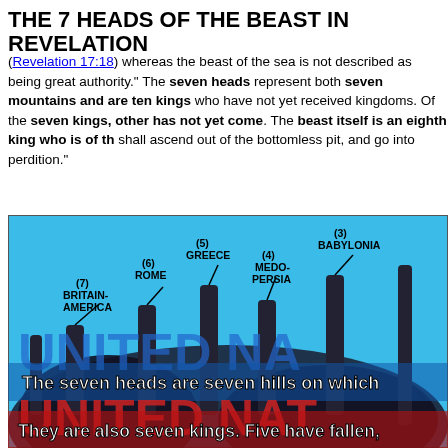THE 7 HEADS OF THE BEAST IN REVELATION
(Revelation 17:18) whereas the beast of the sea is not described as being great authority." The seven heads represent both seven mountains and are ten kings who have not yet received kingdoms. Of the seven kings, other has not yet come. The beast itself is an eighth king who is of th shall ascend out of the bottomless pit, and go into perdition."
[Figure (illustration): Illustration of a beast with seven heads labeled with empires: (7) BRITAIN-AMERICA, (6) ROME, (5) GREECE, (4) MEDO-PERSIA, (3) BABYLONIA. Blue background with 'UNITED NA' text visible and overlay text: 'The seven heads are seven hills on which' and 'They are also seven kings. Five have fallen,']